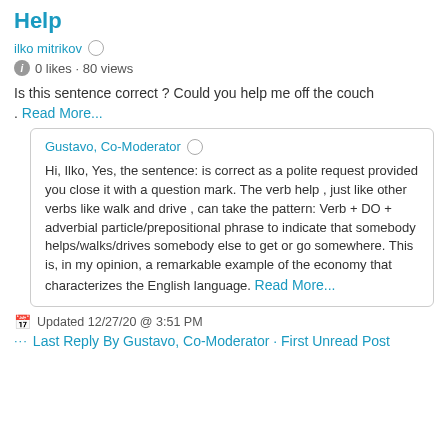Help
ilko mitrikov
0 likes · 80 views
Is this sentence correct ? Could you help me off the couch . Read More...
Gustavo, Co-Moderator
Hi, Ilko, Yes, the sentence: is correct as a polite request provided you close it with a question mark. The verb help , just like other verbs like walk and drive , can take the pattern: Verb + DO + adverbial particle/prepositional phrase to indicate that somebody helps/walks/drives somebody else to get or go somewhere. This is, in my opinion, a remarkable example of the economy that characterizes the English language. Read More...
Updated 12/27/20 @ 3:51 PM
Last Reply By Gustavo, Co-Moderator · First Unread Post